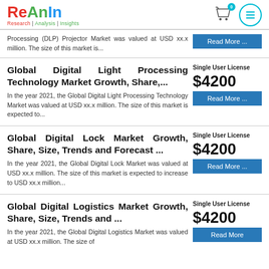ReAnIn - Research | Analysis | Insights
Processing (DLP) Projector Market was valued at USD xx.x million. The size of this market is...
Global Digital Light Processing Technology Market Growth, Share,...
Single User License $4200
In the year 2021, the Global Digital Light Processing Technology Market was valued at USD xx.x million. The size of this market is expected to...
Global Digital Lock Market Growth, Share, Size, Trends and Forecast ...
Single User License $4200
In the year 2021, the Global Digital Lock Market was valued at USD xx.x million. The size of this market is expected to increase to USD xx.x million...
Global Digital Logistics Market Growth, Share, Size, Trends and ...
Single User License $4200
In the year 2021, the Global Digital Logistics Market was valued at USD xx.x million. The size of